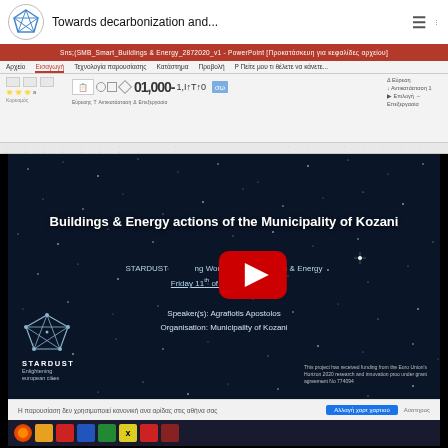[Figure (screenshot): YouTube video thumbnail showing a PowerPoint presentation about 'Buildings & Energy actions of the Municipality of Kozani', with a STARDUST workshop on Buildings & Energy, Friday 11th of December 2020, speaker Agrafiotis Apostolos, Organisation Municipality of Kozani. The video has a dark starry night background and shows a YouTube play button overlay. The surrounding interface shows a Microsoft PowerPoint window with ribbon toolbar and a browser notification bar.]